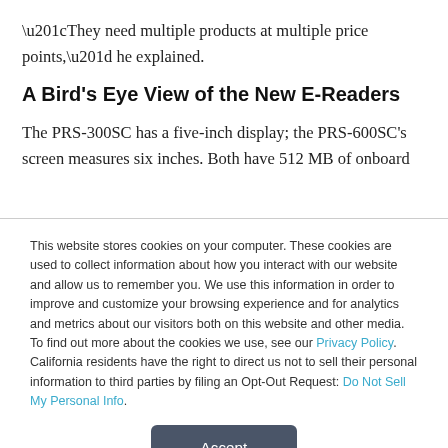“They need multiple products at multiple price points,” he explained.
A Bird’s Eye View of the New E-Readers
The PRS-300SC has a five-inch display; the PRS-600SC’s screen measures six inches. Both have 512 MB of onboard
This website stores cookies on your computer. These cookies are used to collect information about how you interact with our website and allow us to remember you. We use this information in order to improve and customize your browsing experience and for analytics and metrics about our visitors both on this website and other media. To find out more about the cookies we use, see our Privacy Policy. California residents have the right to direct us not to sell their personal information to third parties by filing an Opt-Out Request: Do Not Sell My Personal Info.
Accept